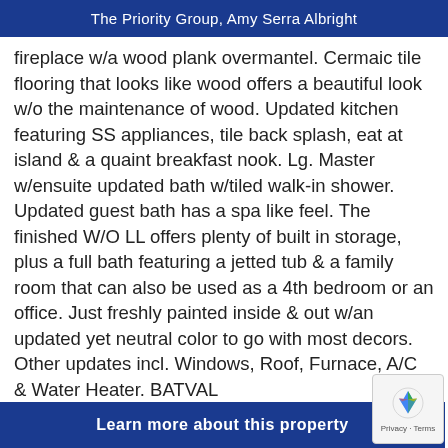The Priority Group, Amy Serra Albright
fireplace w/a wood plank overmantel. Cermaic tile flooring that looks like wood offers a beautiful look w/o the maintenance of wood. Updated kitchen featuring SS appliances, tile back splash, eat at island & a quaint breakfast nook. Lg. Master w/ensuite updated bath w/tiled walk-in shower. Updated guest bath has a spa like feel. The finished W/O LL offers plenty of built in storage, plus a full bath featuring a jetted tub & a family room that can also be used as a 4th bedroom or an office. Just freshly painted inside & out w/an updated yet neutral color to go with most decors. Other updates incl. Windows, Roof, Furnace, A/C & Water Heater. BATVAL
Learn more about this property